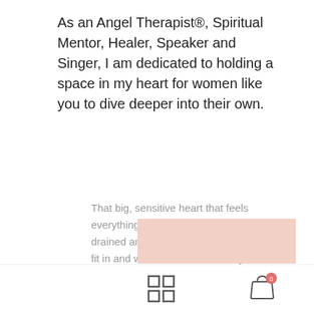As an Angel Therapist®, Spiritual Mentor, Healer, Speaker and Singer, I am dedicated to holding a space in my heart for women like you to dive deeper into their own.
That big, sensitive heart that feels everything. So much that you often feel drained and overwhelmed; like you don't fit in and wonder what on Earth you are doing here on this crazy, intense planet.
The thing is, you aren't meant to fit in, you were born to stand out.
You know that. Your soul knows that, otherwise you wouldn't be reading this now.
[Figure (other): Pink/rose colored banner box at bottom of content area, partially visible]
Navigation footer with grid icon and shopping bag icon with badge showing 0